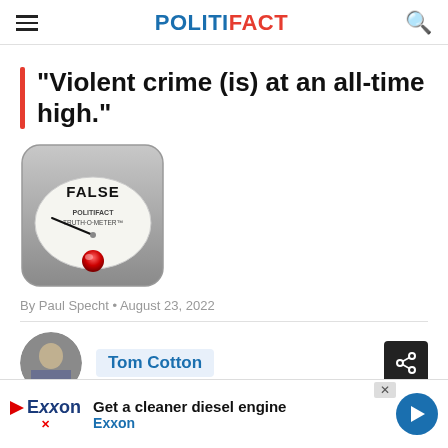POLITIFACT
“Violent crime (is) at an all-time high.”
[Figure (illustration): PolitiFact Truth-O-Meter gauge showing FALSE rating with needle pointing to the far left and a red indicator light at the bottom]
By Paul Specht • August 23, 2022
Tom Cotton
[Figure (photo): Circular headshot photo of Tom Cotton]
Get a cleaner diesel engine Exxon